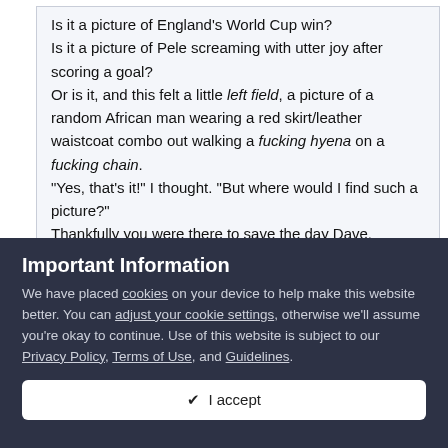Is it a picture of England's World Cup win? Is it a picture of Pele screaming with utter joy after scoring a goal? Or is it, and this felt a little left field, a picture of a random African man wearing a red skirt/leather waistcoat combo out walking a fucking hyena on a fucking chain. "Yes, that's it!" I thought. "But where would I find such a picture?" Thankfully you were there to save the day Dave. 🙂
apologies - you are right we need a group shot with the gaffer leading the way
Important Information
We have placed cookies on your device to help make this website better. You can adjust your cookie settings, otherwise we'll assume you're okay to continue. Use of this website is subject to our Privacy Policy, Terms of Use, and Guidelines.
✔ I accept